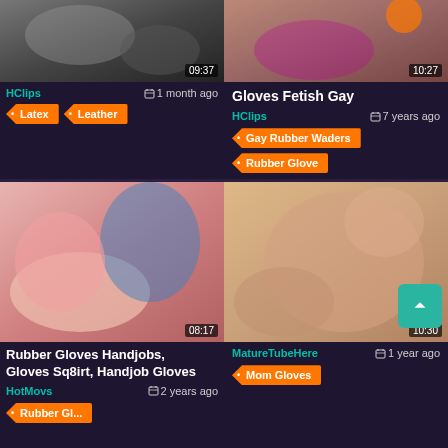[Figure (screenshot): Video thumbnail grid showing adult content video listings with thumbnails, titles, source labels, dates, and tags]
HClips
1 month ago
Latex
Leather
Gloves Fetish Gay
HClips
7 years ago
Gay Rubber Waders
Rubber Glove
Rubber Gloves Handjobs, Gloves Sq8irt, Handjob Gloves
HotMovs
2 years ago
MatureTubeHere
1 year ago
Mom Gloves